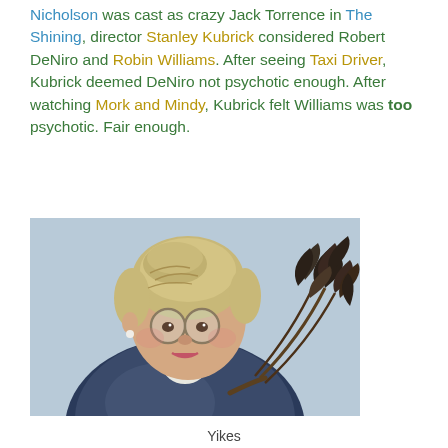Nicholson was cast as crazy Jack Torrence in The Shining, director Stanley Kubrick considered Robert DeNiro and Robin Williams. After seeing Taxi Driver, Kubrick deemed DeNiro not psychotic enough. After watching Mork and Mindy, Kubrick felt Williams was too psychotic. Fair enough.
[Figure (photo): Photo of Robin Williams dressed as Mrs. Doubtfire — an elderly woman with grey-blonde updo hair, round glasses, pearl earring, blue patterned sweater, white collar, holding a large dark feather duster. Light blue/grey background.]
Yikes